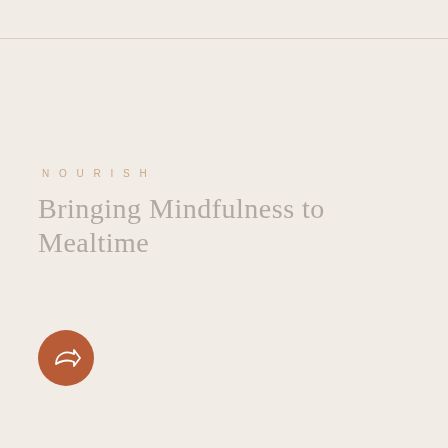NOURISH
Bringing Mindfulness to Mealtime
[Figure (illustration): Circular burnt-orange share/reply button icon with a white forward/share arrow symbol]